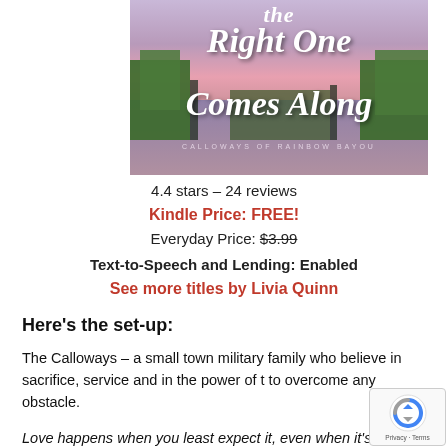[Figure (illustration): Book cover for 'The Right One Comes Along' by Calloways of Rainbow Bayou, featuring a swamp/bayou landscape at dusk with pink and purple sky, green marsh grasses, and script title text in white.]
4.4 stars – 24 reviews
Kindle Price: FREE!
Everyday Price: $3.99
Text-to-Speech and Lending: Enabled
See more titles by Livia Quinn
Here's the set-up:
The Calloways – a small town military family who believe in sacrifice, service and in the power of t to overcome any obstacle.
Love happens when you least expect it, even when it's